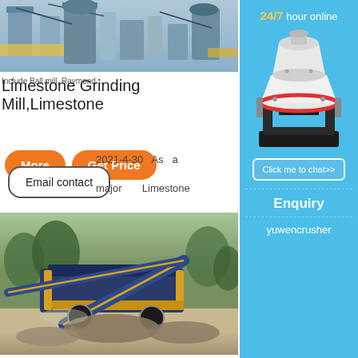[Figure (photo): Industrial limestone grinding mill facility with machinery and silos]
Limestone Grinding Mill,Limestone Grinding Machine ...
Include Ball mill, Raymond ...
[Figure (other): Orange More button and Get Price button]
2021-4-30  As  a
Email contact
major      Limestone
[Figure (photo): Mobile limestone crushing and screening plant in operation outdoors]
24/7 hour online
[Figure (photo): White industrial cone crusher machine illustration]
Click me to chat>>
Enquiry
yuwencrusher